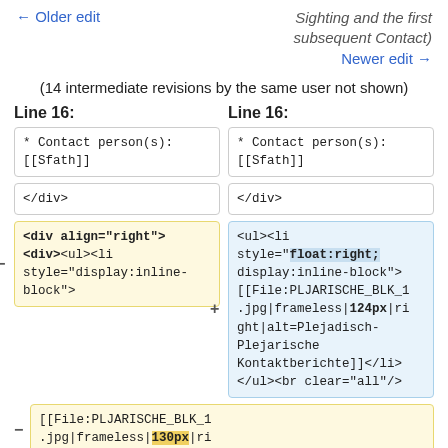← Older edit
Sighting and the first subsequent Contact)
Newer edit →
(14 intermediate revisions by the same user not shown)
Line 16:
Line 16:
* Contact person(s):
[[Sfath]]
* Contact person(s):
[[Sfath]]
</div>
</div>
<div align="right">
<div><ul><li
style="display:inline-
block">
<ul><li
style="float:right;
display:inline-block">
[[File:PLJARISCHE_BLK_1
.jpg|frameless|124px|ri
ght|alt=Plejadisch-
Plejarische
Kontaktberichte]]</li>
</ul><br clear="all"/>
[[File:PLJARISCHE_BLK_1
.jpg|frameless|130px|ri